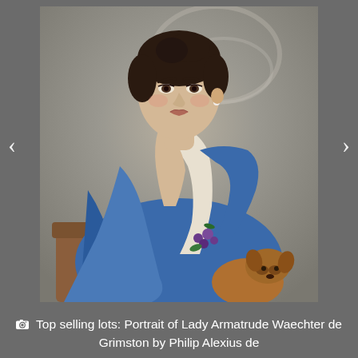[Figure (photo): Portrait painting of Lady Armatrude Waechter de Grimston, a woman in a blue dress/shawl with white fabric, dark upswept hair, pearl earring, holding a small dog, with purple flowers at her waist. Navigation arrows (< and >) are visible on the left and right sides of the image viewer.]
📷 Top selling lots: Portrait of Lady Armatrude Waechter de Grimston by Philip Alexius de